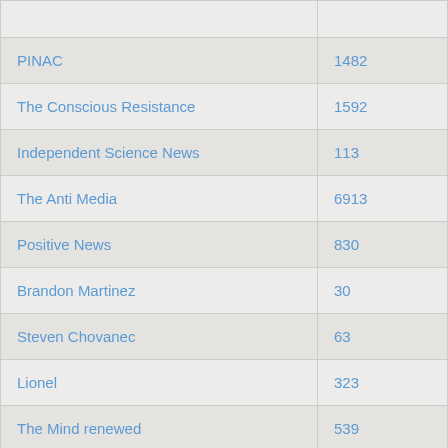| Name | Value |
| --- | --- |
| PINAC | 1482 |
| The Conscious Resistance | 1592 |
| Independent Science News | 113 |
| The Anti Media | 6913 |
| Positive News | 830 |
| Brandon Martinez | 30 |
| Steven Chovanec | 63 |
| Lionel | 323 |
| The Mind renewed | 539 |
| Natural Society | 2627 |